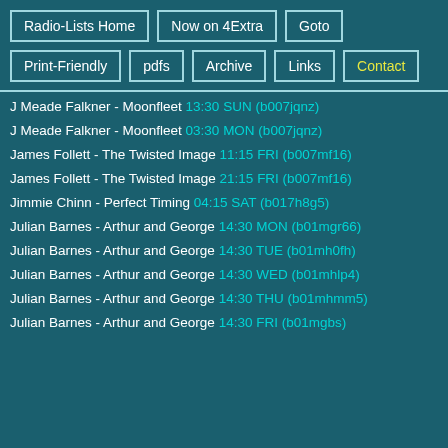Radio-Lists Home | Now on 4Extra | Goto | Print-Friendly | pdfs | Archive | Links | Contact
J Meade Falkner - Moonfleet 13:30 SUN (b007jqnz)
J Meade Falkner - Moonfleet 03:30 MON (b007jqnz)
James Follett - The Twisted Image 11:15 FRI (b007mf16)
James Follett - The Twisted Image 21:15 FRI (b007mf16)
Jimmie Chinn - Perfect Timing 04:15 SAT (b017h8g5)
Julian Barnes - Arthur and George 14:30 MON (b01mgr66)
Julian Barnes - Arthur and George 14:30 TUE (b01mh0fh)
Julian Barnes - Arthur and George 14:30 WED (b01mhlp4)
Julian Barnes - Arthur and George 14:30 THU (b01mhmm5)
Julian Barnes - Arthur and George 14:30 FRI (b01mgbs)